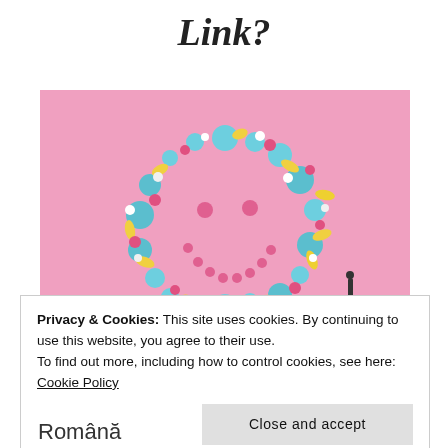Link?
[Figure (photo): Photo of colorful pills and capsules (blue, yellow, pink, white, red) arranged in a smiley face shape on a pink background]
Privacy & Cookies: This site uses cookies. By continuing to use this website, you agree to their use.
To find out more, including how to control cookies, see here: Cookie Policy
Close and accept
Română